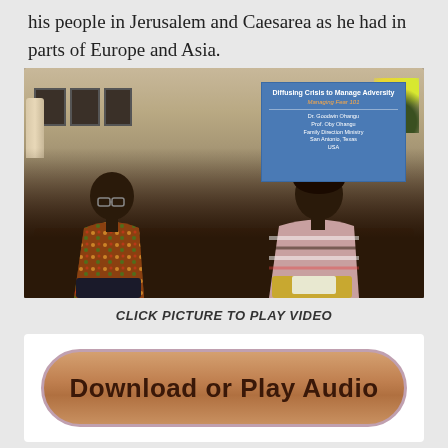his people in Jerusalem and Caesarea as he had in parts of Europe and Asia.
[Figure (photo): Two people seated on a brown leather sofa in a living room setting, with a presentation slide visible in the upper right showing 'Diffusing Crisis to Manage Adversity' title slide with speaker names and location details.]
CLICK PICTURE TO PLAY VIDEO
[Figure (other): Oval button with text 'Download or Play Audio' in dark brown bold text on a tan/brown gradient background with purple border.]